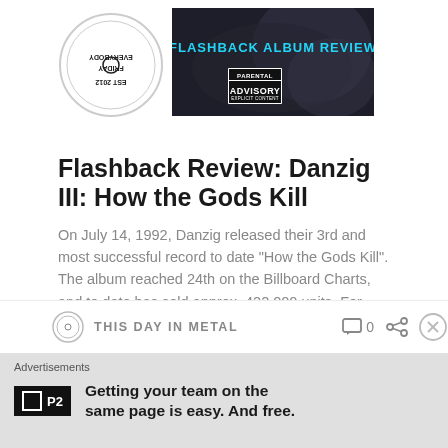[Figure (logo): Circular logo (partially visible, upside down text reading 'EST 2012' and 'FRIDAY EVERYBODY') on white background]
[Figure (illustration): Flashback Album Review banner with white text on dark background with abstract art and Parental Advisory label]
Flashback Review: Danzig III: How the Gods Kill
On July 14, 1992, Danzig released their 3rd and most successful record to date “How the Gods Kill”. The album reached 24th on the Billboard Charts, and to date has sold approx. 422,000 units. For their third outing, Danzig and co. elected to self-produce a majority of the record and took an off-the-floor approach to … Continue reading
THIS DAY IN METAL   0
Advertisements
Getting your team on the same page is easy. And free.